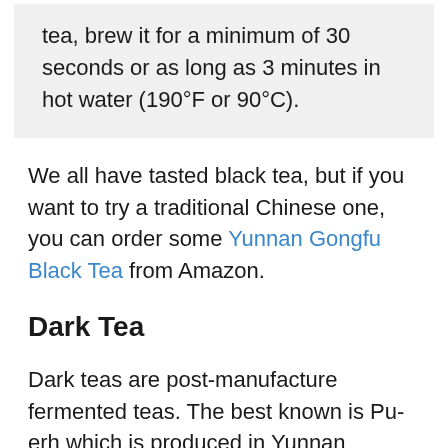tea, brew it for a minimum of 30 seconds or as long as 3 minutes in hot water (190°F or 90°C).
We all have tasted black tea, but if you want to try a traditional Chinese one, you can order some Yunnan Gongfu Black Tea from Amazon.
Dark Tea
Dark teas are post-manufacture fermented teas. The best known is Pu-erh which is produced in Yunnan province. Other dark teas are made in other Chinese provinces.
Pu'erh tea is produced from a green tea